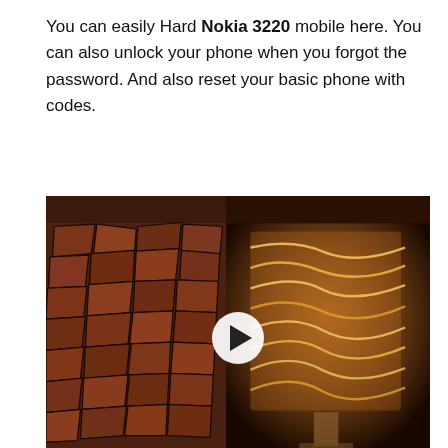You can easily Hard Nokia 3220 mobile here. You can also unlock your phone when you forgot the password. And also reset your basic phone with codes.
[Figure (screenshot): A video thumbnail showing a wood veneer lamp. Left side shows stacked wood chunks on a dark background, right side shows a glowing lamp shade with wavy veneer pattern. A white play button circle is centered. A dark bottom bar shows the VENKO WOOD logo in orange and the title 'Beautiful veneer lamp' in white.]